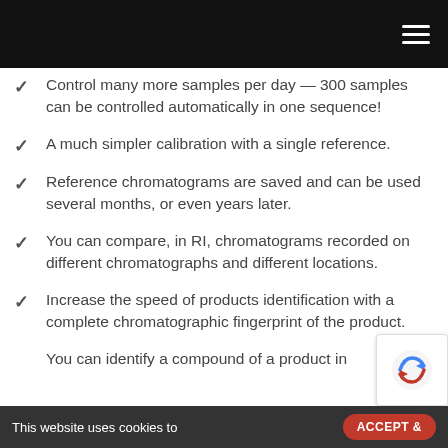[Navigation bar with hamburger menu]
Control many more samples per day — 300 samples can be controlled automatically in one sequence!
A much simpler calibration with a single reference.
Reference chromatograms are saved and can be used several months, or even years later.
You can compare, in RI, chromatograms recorded on different chromatographs and different locations.
Increase the speed of products identification with a complete chromatographic fingerprint of the product.
You can identify a compound of a product in…
This website uses cookies to     ACCEPT &